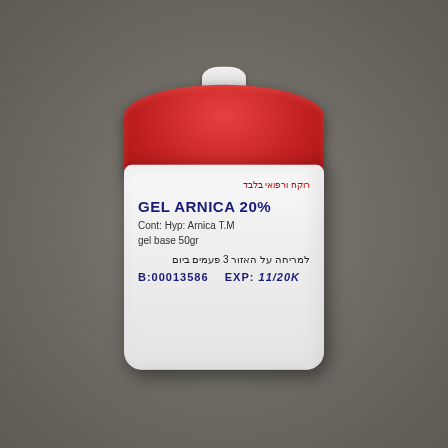[Figure (photo): A white cylindrical pharmaceutical jar with a red screw-on lid and white nozzle cap on top, placed on a grey concrete surface. The jar has a printed label reading GEL ARNICA 20% with ingredients (Cont: Hyp: Arnica T.M, gel base 50gr), Hebrew text instructions for applying to the area 3 times a day, a batch number B:00013586, and an expiry date EXP: 11/20 or similar.]